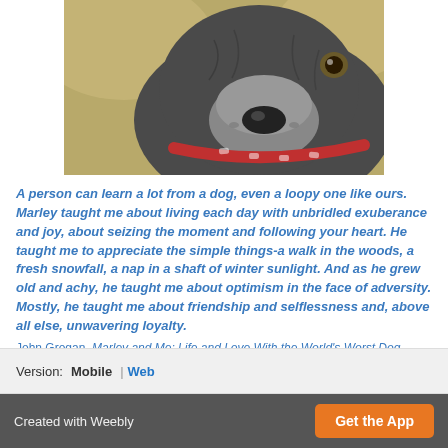[Figure (photo): Close-up photo of a gray/black dog with a red collar, looking toward the camera with a blurred outdoor background]
A person can learn a lot from a dog, even a loopy one like ours. Marley taught me about living each day with unbridled exuberance and joy, about seizing the moment and following your heart. He taught me to appreciate the simple things-a walk in the woods, a fresh snowfall, a nap in a shaft of winter sunlight. And as he grew old and achy, he taught me about optimism in the face of adversity. Mostly, he taught me about friendship and selflessness and, above all else, unwavering loyalty.
John Grogan, Marley and Me: Life and Love With the World's Worst Dog
Version:   Mobile  |  Web
Created with Weebly
Get the App